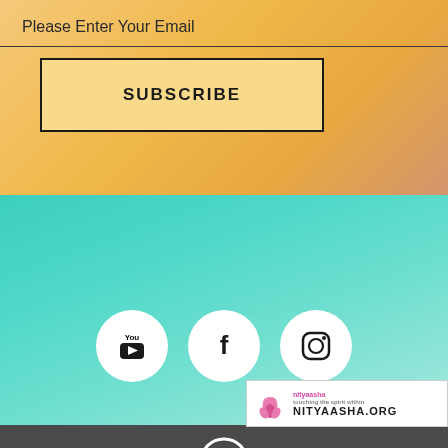Please Enter Your Email
SUBSCRIBE
[Figure (illustration): Social media icons: YouTube, Facebook, Instagram inside white circles on teal gradient background]
[Figure (logo): NityaAsha.org logo with pink lotus flower]
[Figure (illustration): Location pin icon in white on dark gray background]
Plot no. 30, Road No. 3C, South Avenue, Yerawada, Pune 411006.
[Figure (illustration): Home/house icon at bottom on dark gray background]